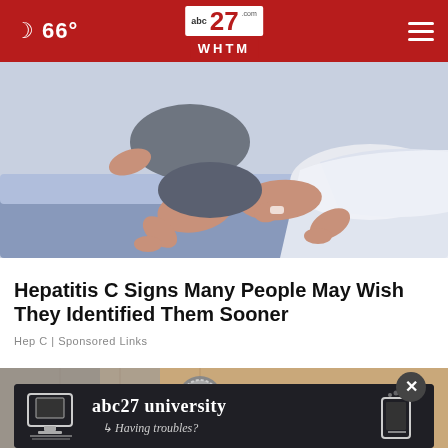66° abc27 WHTM.com
[Figure (illustration): Illustration of a person lying on a bed, partially covered, with bare legs visible against light blue bedding and white sheets. The style is a simple vector/animated illustration.]
Hepatitis C Signs Many People May Wish They Identified Them Sooner
Hep C | Sponsored Links
[Figure (photo): Photograph partially visible: a door knob or rounded metallic object wrapped in foil or tape, set against a wooden door/wall background. Partially obscured by an ad banner at the bottom.]
[Figure (infographic): Advertisement banner with dark background showing 'abc27 university' with chalkboard style icons of a computer/monitor on the left and a hand holding something on the right, with text 'Having troubles?' below in cursive style.]